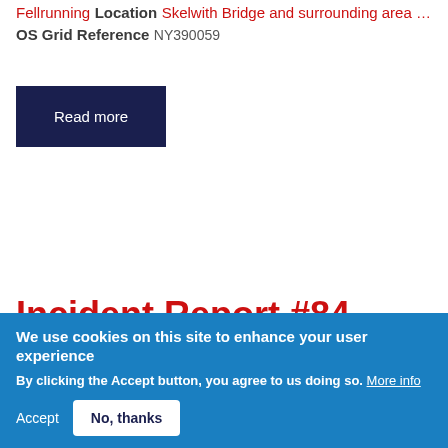Fellrunning
Location
Skelwith Bridge and surrounding area …
OS Grid Reference
NY390059
Read more
Incident Report #84 2018
We use cookies on this site to enhance your user experience
By clicking the Accept button, you agree to us doing so. More info
Accept  No, thanks